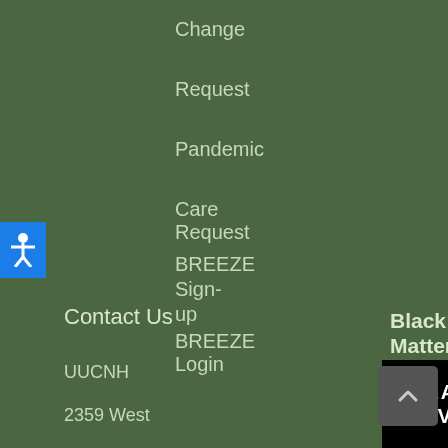Change
Request
Pandemic
Care Request
BREEZE Sign-up
BREEZE Login
[Figure (other): Blue accessibility icon button with white person figure with outstretched arms]
Contact Us
Black Lives Matter
UUCNH
2359 West
[Figure (other): Black Lives Matter logo image on black background with text BLACK LIVES]
[Figure (other): Back to top button with upward arrow on dark gray background]